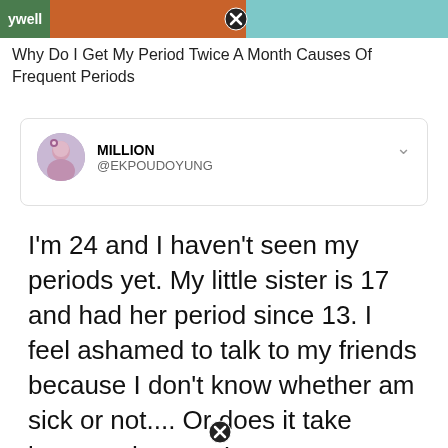[Figure (screenshot): Top banner with 'ywell' green tag on left, close button in center, brown and teal background colors]
Why Do I Get My Period Twice A Month Causes Of Frequent Periods
[Figure (screenshot): Tweet card from user MILLION (@EKPOUDOYUNG) with avatar photo of a woman]
I'm 24 and I haven't seen my periods yet. My little sister is 17 and had her period since 13. I feel ashamed to talk to my friends because I don't know whether am sick or not.... Or does it take longer, when you're